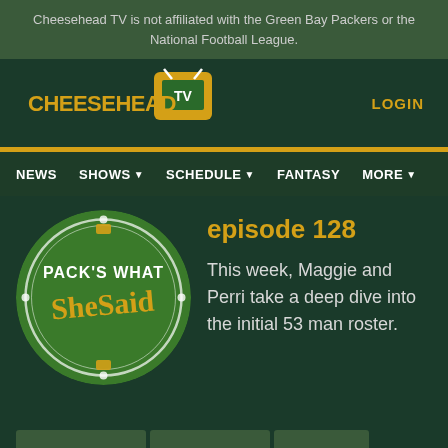Cheesehead TV is not affiliated with the Green Bay Packers or the National Football League.
[Figure (logo): Cheesehead TV logo with TV icon]
LOGIN
NEWS  SHOWS  SCHEDULE  FANTASY  MORE
[Figure (illustration): Pack's What She Said podcast circular logo on green grass background]
episode 128
This week, Maggie and Perri take a deep dive into the initial 53 man roster.
[Figure (other): Advertisement: Up to 60% off Clothing at Kohl's. Save up to 60% on clothing and homeware at Kohl's.com. kohls.com]